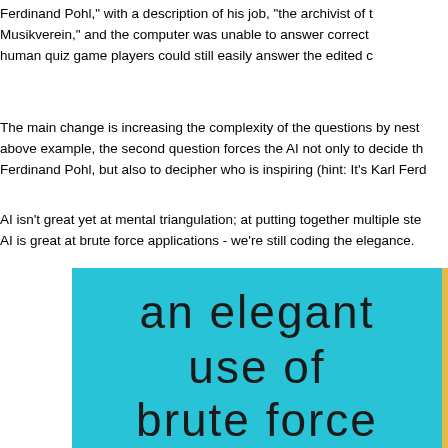Ferdinand Pohl," with a description of his job, "the archivist of t Musikverein," and the computer was unable to answer correct human quiz game players could still easily answer the edited c
The main change is increasing the complexity of the questions by nest above example, the second question forces the AI not only to decide th Ferdinand Pohl, but also to decipher who is inspiring (hint: It's Karl Ferd
AI isn't great yet at mental triangulation; at putting together multiple ste AI is great at brute force applications - we're still coding the elegance.
[Figure (illustration): Illustration on a teal/cyan background showing handwritten-style text reading 'an elegant use of brute force' in dark letters. A partial yellow/orange figure visible on the right edge.]